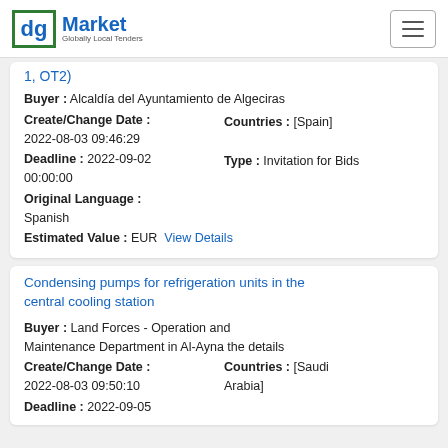dg Market — Globally Local Tenders
1, OT2)
Buyer : Alcaldía del Ayuntamiento de Algeciras
Create/Change Date : 2022-08-03 09:46:29
Countries : [Spain]
Deadline : 2022-09-02 00:00:00
Type : Invitation for Bids
Original Language : Spanish
Estimated Value : EUR  View Details
Condensing pumps for refrigeration units in the central cooling station
Buyer : Land Forces - Operation and Maintenance Department in Al-Ayna the details
Create/Change Date : 2022-08-03 09:50:10
Countries : [Saudi Arabia]
Deadline : 2022-09-05